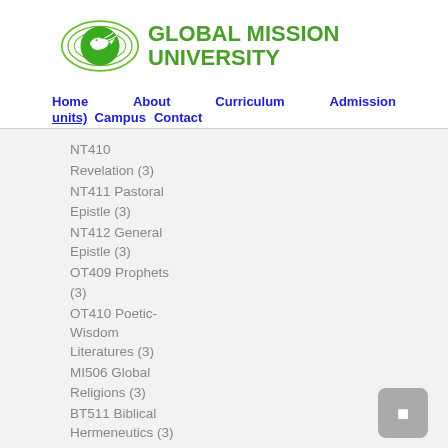[Figure (logo): Global Mission University logo with green dove/globe icon and green text]
Home  About  Curriculum  Admission
units)  Campus  Contact
NT410
Revelation (3)
NT411 Pastoral Epistle (3)
NT412 General Epistle (3)
OT409 Prophets (3)
OT410 Poetic-Wisdom Literatures (3)
MI506 Global Religions (3)
BT511 Biblical Hermeneutics (3)
PT402 Biblical Preaching (3)